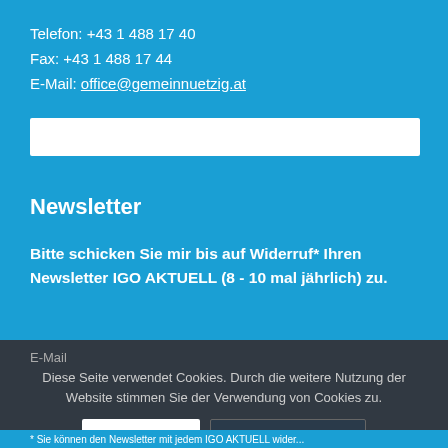Telefon: +43 1 488 17 40
Fax: +43 1 488 17 44
E-Mail: office@gemeinnuetzig.at
Newsletter
Bitte schicken Sie mir bis auf Widerruf* Ihren Newsletter IGO AKTUELL (8 - 10 mal jährlich) zu.
E-Mail
Diese Seite verwendet Cookies. Durch die weitere Nutzung der Website stimmen Sie der Verwendung von Cookies zu.
OK
Einstellungen
* Sie können den Newsletter mit jedem IGO AKTUELL wider...